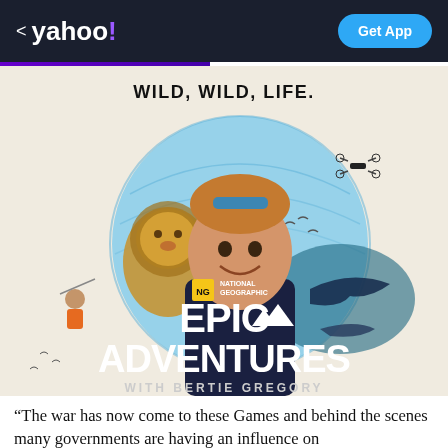< yahoo! | Get App
WILD, WILD, LIFE.
[Figure (photo): National Geographic Epic Adventures with Bertie Gregory show poster. A smiling man with sunglasses on his head wearing a dark t-shirt, surrounded by a lion, a drone, birds, sharks, and a whale in a circular composite image. Text reads 'NATIONAL GEOGRAPHIC EPIC ADVENTURES WITH BERTIE GREGORY'.]
“The war has now come to these Games and behind the scenes many governments are having an influence on